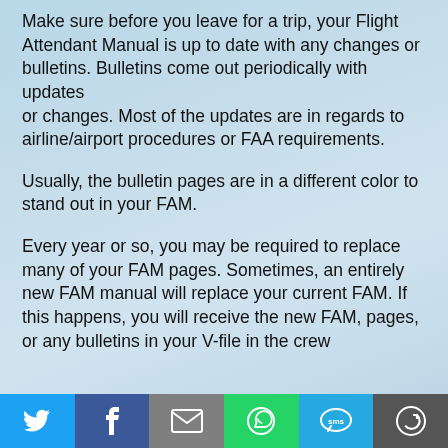Make sure before you leave for a trip, your Flight Attendant Manual is up to date with any changes or bulletins. Bulletins come out periodically with updates
or changes. Most of the updates are in regards to airline/airport procedures or FAA requirements.
Usually, the bulletin pages are in a different color to stand out in your FAM.
Every year or so, you may be required to replace many of your FAM pages. Sometimes, an entirely new FAM manual will replace your current FAM. If this happens, you will receive the new FAM, pages, or any bulletins in your V-file in the crew
Social share toolbar: Twitter, Facebook, Email, WhatsApp, SMS, More